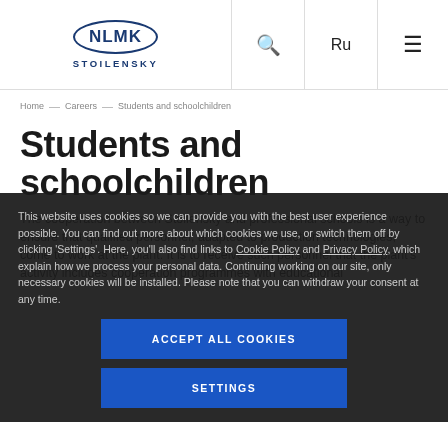NLMK STOILENSKY — navigation header with logo, search, language (Ru), and menu icons
Home — Careers — Students and schoolchildren
Students and schoolchildren
The cooperation between Stoilensky and professional schools is a way to ensure that qualified personnel, adapted to production technologies, come to work at the plant. It is to receive such personnel that the plant's activity includes cooperation programmes with educational
This website uses cookies so we can provide you with the best user experience possible. You can find out more about which cookies we use, or switch them off by clicking 'Settings'. Here, you'll also find links to Cookie Policy and Privacy Policy, which explain how we process your personal data. Continuing working on our site, only necessary cookies will be installed. Please note that you can withdraw your consent at any time.
ACCEPT ALL COOKIES
SETTINGS